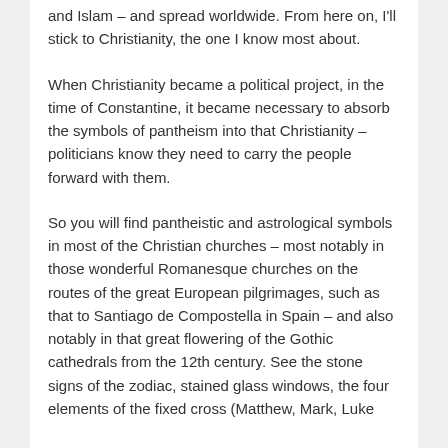and Islam – and spread worldwide. From here on, I'll stick to Christianity, the one I know most about.
When Christianity became a political project, in the time of Constantine, it became necessary to absorb the symbols of pantheism into that Christianity – politicians know they need to carry the people forward with them.
So you will find pantheistic and astrological symbols in most of the Christian churches – most notably in those wonderful Romanesque churches on the routes of the great European pilgrimages, such as that to Santiago de Compostella in Spain – and also notably in that great flowering of the Gothic cathedrals from the 12th century. See the stone signs of the zodiac, stained glass windows, the four elements of the fixed cross (Matthew, Mark, Luke